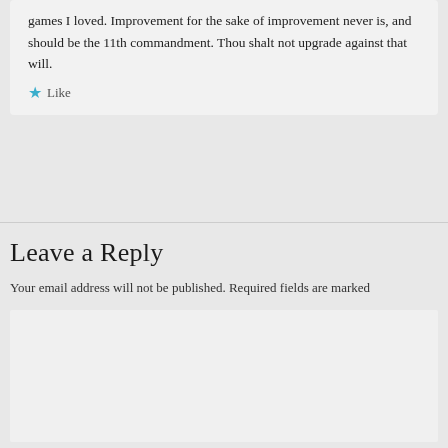games I loved. Improvement for the sake of improvement never is, and should be the 11th commandment. Thou shalt not upgrade against that will.
Like
Leave a Reply
Your email address will not be published. Required fields are marked
[Figure (other): Empty text area input box for composing a reply comment]